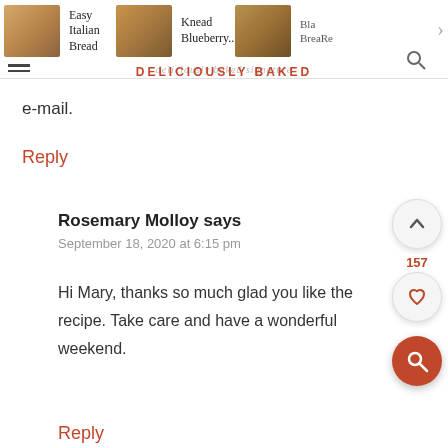Easy Italian Bread | Knead Blueberry... | DELICIOUSLY BAKED
e-mail.
Reply
Rosemary Molloy says
September 18, 2020 at 6:15 pm
Hi Mary, thanks so much glad you like the recipe. Take care and have a wonderful weekend.
Reply